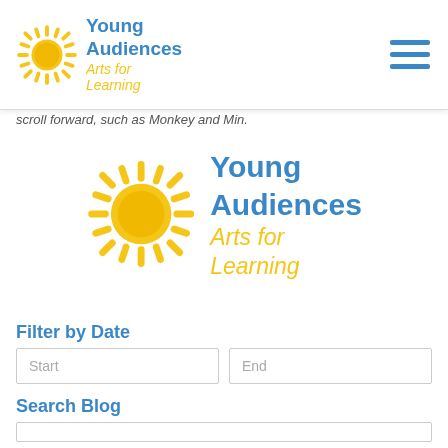Young Audiences Arts for Learning
scroll forward, such as Monkey and Min.
[Figure (logo): Young Audiences Arts for Learning logo with yellow sun icon, blue text 'Young Audiences' and yellow italic text 'Arts for Learning']
Filter by Date
Start | End
Search Blog